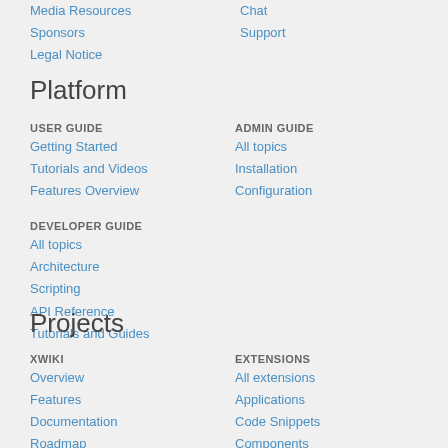Media Resources
Sponsors
Legal Notice
Chat
Support
Platform
USER GUIDE
Getting Started
Tutorials and Videos
Features Overview
ADMIN GUIDE
All topics
Installation
Configuration
DEVELOPER GUIDE
All topics
Architecture
Scripting
API Reference
Tutorials and Guides
Projects
XWIKI
Overview
Features
Documentation
Roadmap
Release Notes
EXTENSIONS
All extensions
Applications
Code Snippets
Components
More...